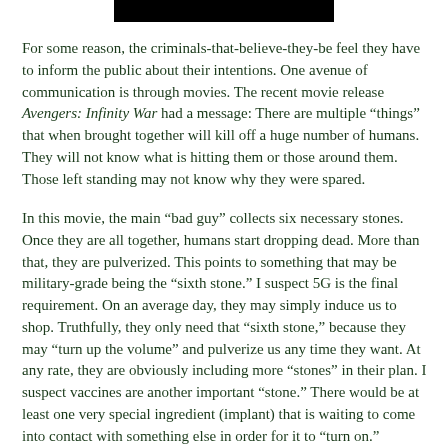[Figure (other): Black rectangular banner/header bar at the top center of the page]
For some reason, the criminals-that-believe-they-be feel they have to inform the public about their intentions. One avenue of communication is through movies. The recent movie release Avengers: Infinity War had a message: There are multiple “things” that when brought together will kill off a huge number of humans. They will not know what is hitting them or those around them. Those left standing may not know why they were spared.
In this movie, the main “bad guy” collects six necessary stones. Once they are all together, humans start dropping dead. More than that, they are pulverized. This points to something that may be military-grade being the “sixth stone.” I suspect 5G is the final requirement. On an average day, they may simply induce us to shop. Truthfully, they only need that “sixth stone,” because they may “turn up the volume” and pulverize us any time they want. At any rate, they are obviously including more “stones” in their plan. I suspect vaccines are another important “stone.” There would be at least one very special ingredient (implant) that is waiting to come into contact with something else in order for it to “turn on.” Vaccines are obviously one of the stones, because so